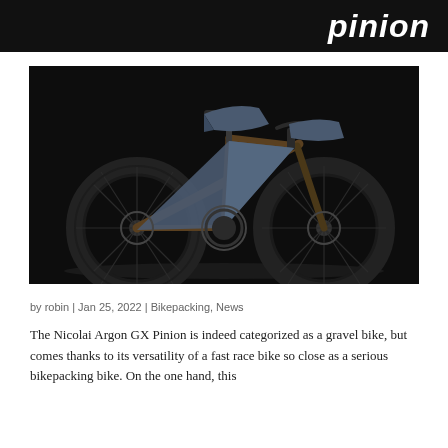pinion
[Figure (photo): A dark bronze/brown gravel bike with blue bikepacking bags (seat bag, frame bag, handlebar bag) photographed in profile against a black background.]
by robin | Jan 25, 2022 | Bikepacking, News
The Nicolai Argon GX Pinion is indeed categorized as a gravel bike, but comes thanks to its versatility of a fast race bike so close as a serious bikepacking bike. On the one hand, this